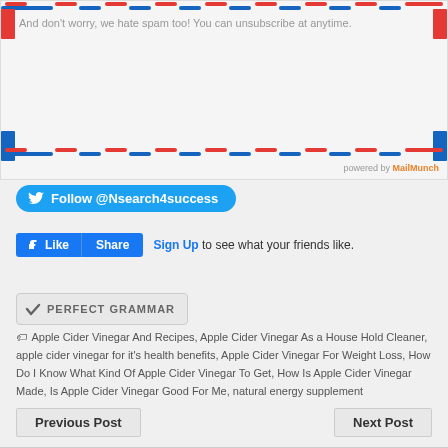And don't worry, we hate spam too! You can unsubscribe at anytime.
powered by MailMunch
[Figure (screenshot): Twitter Follow button for @Nsearch4success in blue rounded rectangle]
[Figure (screenshot): Facebook Like and Share buttons in blue, with 'Sign Up to see what your friends like.' text]
[Figure (logo): Perfect Grammar badge with checkmark icon]
Apple Cider Vinegar And Recipes, Apple Cider Vinegar As a House Hold Cleaner, apple cider vinegar for it's health benefits, Apple Cider Vinegar For Weight Loss, How Do I Know What Kind Of Apple Cider Vinegar To Get, How Is Apple Cider Vinegar Made, Is Apple Cider Vinegar Good For Me, natural energy supplement
Previous Post
Next Post